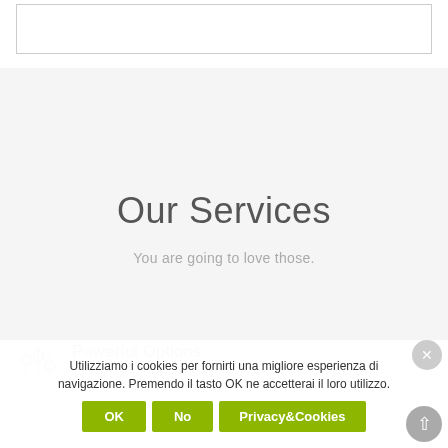[Figure (screenshot): Top white area with a bordered rectangle/box element]
Our Services
You are going to love those.
Powerful Options
Utilizziamo i cookies per fornirti una migliore esperienza di navigazione. Premendo il tasto OK ne accetterai il loro utilizzo.
OK  No  Privacy&Cookies